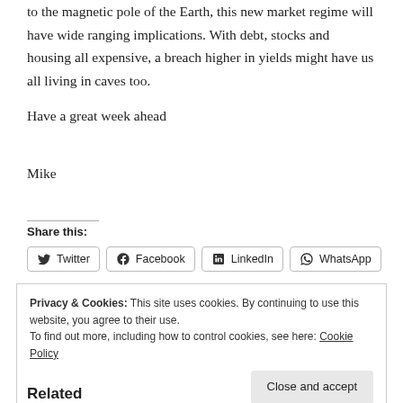to the magnetic pole of the Earth, this new market regime will have wide ranging implications. With debt, stocks and housing all expensive, a breach higher in yields might have us all living in caves too.
Have a great week ahead
Mike
Share this:
[Figure (other): Share buttons for Twitter, Facebook, LinkedIn, WhatsApp]
Privacy & Cookies: This site uses cookies. By continuing to use this website, you agree to their use. To find out more, including how to control cookies, see here: Cookie Policy
Related